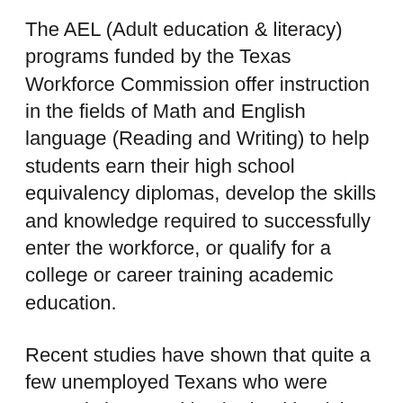The AEL (Adult education & literacy) programs funded by the Texas Workforce Commission offer instruction in the fields of Math and English language (Reading and Writing) to help students earn their high school equivalency diplomas, develop the skills and knowledge required to successfully enter the workforce, or qualify for a college or career training academic education.
Recent studies have shown that quite a few unemployed Texans who were severely impacted by the health crisis don't hold a high school or equivalent diploma.
TWC staff says that often, students in AEL programs joined the workforce at an early age and consequently missed many